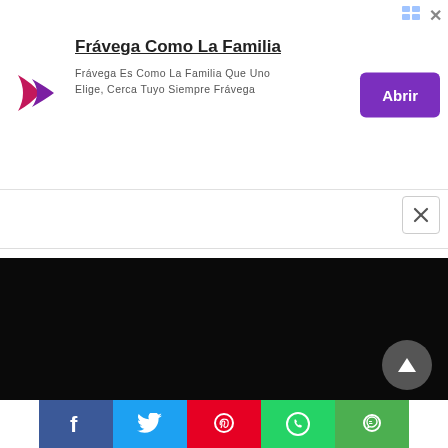[Figure (other): Advertisement banner for Frávega with logo, title 'Frávega Como La Familia', description text, and purple 'Abrir' button]
Frávega Como La Familia
Frávega Es Como La Familia Que Uno Elige, Cerca Tuyo Siempre Frávega
[Figure (other): Black video player area with dark background]
[Figure (other): Social sharing buttons: Facebook, Twitter, Pinterest, WhatsApp, LINE]